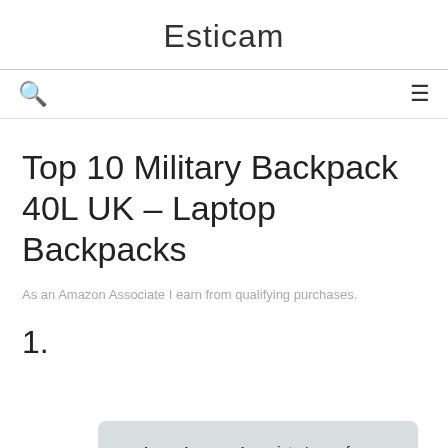Esticam
Top 10 Military Backpack 40L UK – Laptop Backpacks
As an Amazon Associate I earn from qualifying purchases.
1.
As an Amazon Associate I earn from qualifying purchases. This website uses the only necessary cookies to ensure you get the best experience on our website. More information